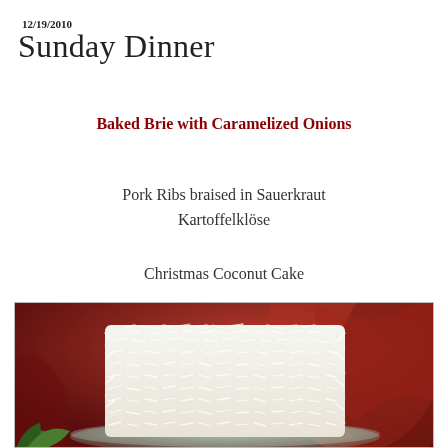12/19/2010
Sunday Dinner
Baked Brie with Caramelized Onions
Pork Ribs braised in Sauerkraut
Kartoffelklöse
Christmas Coconut Cake
[Figure (photo): A round white coconut cake covered in shredded coconut, sitting on a glass plate against a red fabric background]